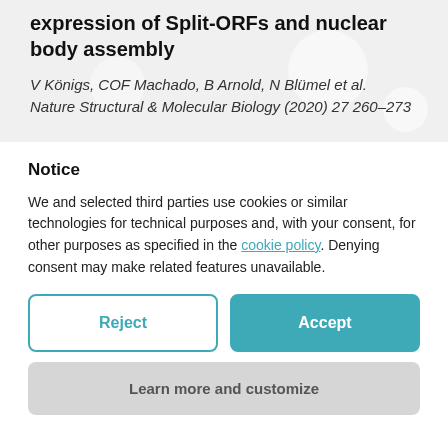expression of Split-ORFs and nuclear body assembly
V Königs, COF Machado, B Arnold, N Blümel et al. Nature Structural &amp; Molecular Biology (2020) 27 260–273
Notice
We and selected third parties use cookies or similar technologies for technical purposes and, with your consent, for other purposes as specified in the cookie policy. Denying consent may make related features unavailable.
Reject
Accept
Learn more and customize